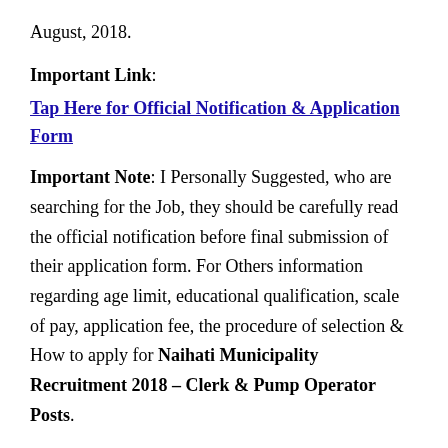August, 2018.
Important Link: Tap Here for Official Notification & Application Form
Important Note: I Personally Suggested, who are searching for the Job, they should be carefully read the official notification before final submission of their application form. For Others information regarding age limit, educational qualification, scale of pay, application fee, the procedure of selection & How to apply for Naihati Municipality Recruitment 2018 – Clerk & Pump Operator Posts.
Important Note:- The content given above are meant for informational purpose only in the interest of job seekers. Jobsnik.com is not a recruitment agency and do